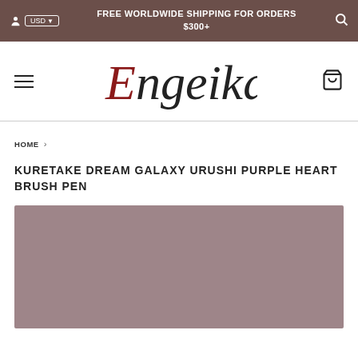FREE WORLDWIDE SHIPPING FOR ORDERS $300+
[Figure (logo): Engeika brand logo in italic script font with red E initial]
HOME ›
KURETAKE DREAM GALAXY URUSHI PURPLE HEART BRUSH PEN
[Figure (photo): Mauve/purple-pink solid color product background image placeholder]